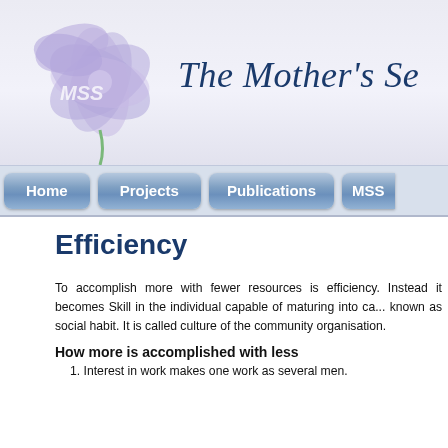[Figure (illustration): Website header with purple/lavender flower illustration on left and italic serif text 'The Mother's Se...' on right, light blue-grey gradient background. MSS text overlaid on flower.]
[Figure (infographic): Navigation bar with blue rounded buttons: Home, Projects, Publications, MSS (partially visible)]
Efficiency
To accomplish more with fewer resources is efficiency. Instead it becomes Skill in the individual capable of maturing into ca... known as social habit. It is called culture of the community organisation.
How more is accomplished with less
1. Interest in work makes one work as several men.